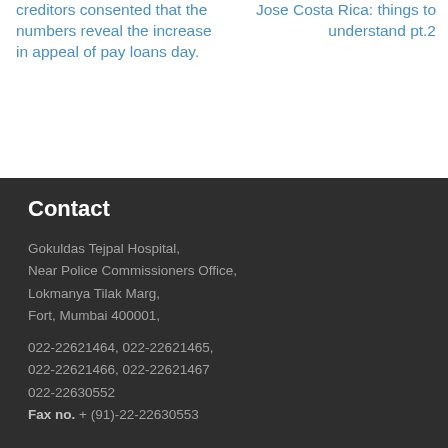creditors consented that the numbers reveal the increase in appeal of pay loans day.
Jose Costa Rica: things to understand pt.2
Contact
Gokuldas Tejpal Hospital,
Near Police Commissioners Office,
Lokmanya Tilak Marg,
Fort, Mumbai 400001,
022-22621464, 022-22621465,
022-22621466, 022-22621467
022-22630552
Fax no. + (91)-22-22630553